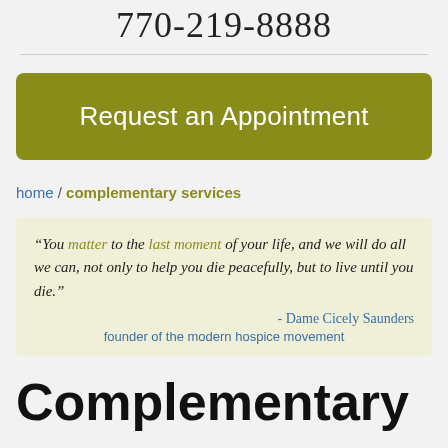770-219-8888
home / complementary services
Request an Appointment
“You matter to the last moment of your life, and we will do all we can, not only to help you die peacefully, but to live until you die.” - Dame Cicely Saunders, founder of the modern hospice movement
Complementary